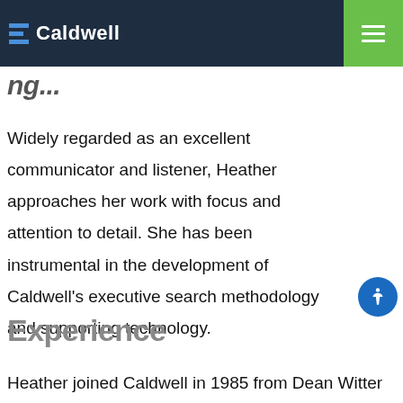Caldwell
Widely regarded as an excellent communicator and listener, Heather approaches her work with focus and attention to detail. She has been instrumental in the development of Caldwell's executive search methodology and supporting technology.
Experience
Heather joined Caldwell in 1985 from Dean Witter Reynolds...